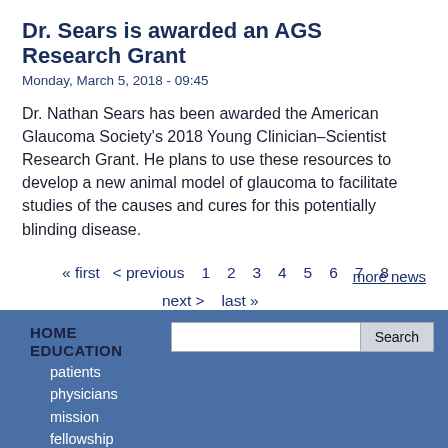Dr. Sears is awarded an AGS Research Grant
Monday, March 5, 2018 - 09:45
Dr. Nathan Sears has been awarded the American Glaucoma Society's 2018 Young Clinician-Scientist Research Grant. He plans to use these resources to develop a new animal model of glaucoma to facilitate studies of the causes and cures for this potentially blinding disease.
<< first  < previous  1  2  3  4  5  6  7  8  next >  last >>
more news
HOME
EDUCATION
patients
physicians
mission
fellowship